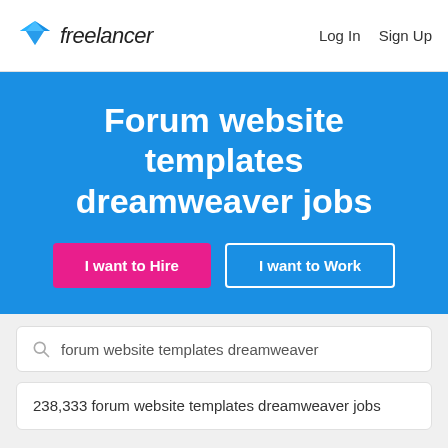freelancer   Log In   Sign Up
Forum website templates dreamweaver jobs
I want to Hire   I want to Work
forum website templates dreamweaver
238,333 forum website templates dreamweaver jobs